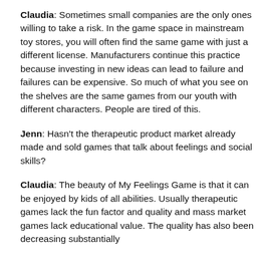Claudia: Sometimes small companies are the only ones willing to take a risk. In the game space in mainstream toy stores, you will often find the same game with just a different license. Manufacturers continue this practice because investing in new ideas can lead to failure and failures can be expensive. So much of what you see on the shelves are the same games from our youth with different characters. People are tired of this.
Jenn: Hasn't the therapeutic product market already made and sold games that talk about feelings and social skills?
Claudia: The beauty of My Feelings Game is that it can be enjoyed by kids of all abilities. Usually therapeutic games lack the fun factor and quality and mass market games lack educational value. The quality has also been decreasing substantially